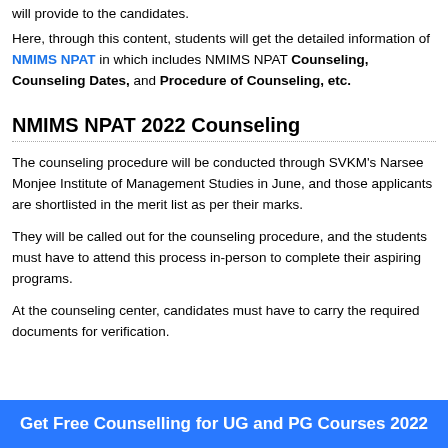will provide to the candidates. Here, through this content, students will get the detailed information of NMIMS NPAT in which includes NMIMS NPAT Counseling, Counseling Dates, and Procedure of Counseling, etc.
NMIMS NPAT 2022 Counseling
The counseling procedure will be conducted through SVKM's Narsee Monjee Institute of Management Studies in June, and those applicants are shortlisted in the merit list as per their marks.
They will be called out for the counseling procedure, and the students must have to attend this process in-person to complete their aspiring programs.
At the counseling center, candidates must have to carry the required documents for verification.
Get Free Counselling for UG and PG Courses 2022